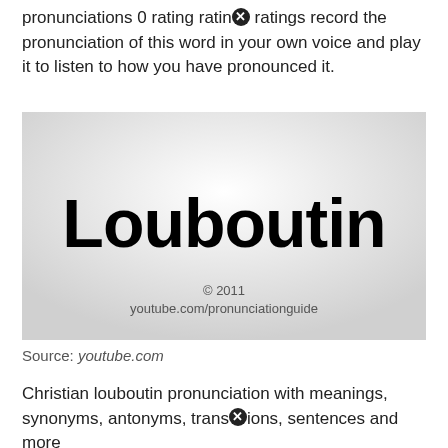pronunciations 0 rating rating ratings record the pronunciation of this word in your own voice and play it to listen to how you have pronounced it.
[Figure (screenshot): Screenshot of a YouTube pronunciation guide video showing the word 'Louboutin' in large bold black text on a light gray gradient background, with copyright notice '© 2011' and 'youtube.com/pronunciationguide' at the bottom.]
Source: youtube.com
Christian louboutin pronunciation with meanings, synonyms, antonyms, translations, sentences and more